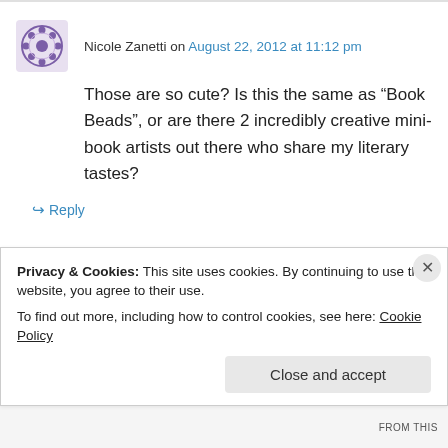Nicole Zanetti on August 22, 2012 at 11:12 pm
Those are so cute? Is this the same as “Book Beads”, or are there 2 incredibly creative mini-book artists out there who share my literary tastes?
← Reply
OutlanderFan on August 23, 2012 at 11:48 am
Privacy & Cookies: This site uses cookies. By continuing to use this website, you agree to their use.
To find out more, including how to control cookies, see here: Cookie Policy